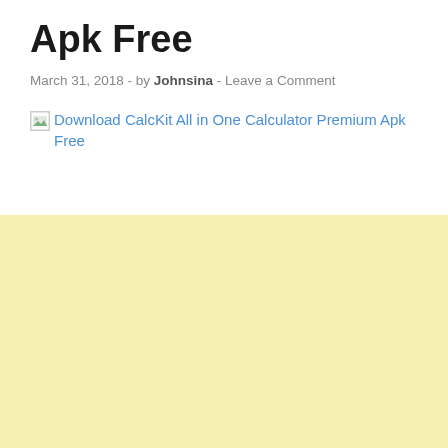Apk Free
March 31, 2018  -  by Johnsina  -  Leave a Comment
[Figure (screenshot): Broken image placeholder with alt text link: Download CalcKit All in One Calculator Premium Apk Free]
[Figure (other): Large light yellow/cream colored rectangle filling the bottom half of the page]